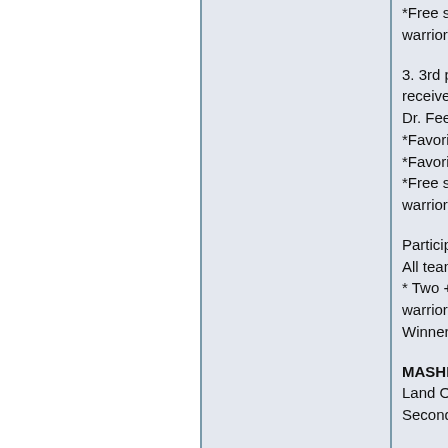*Free stat raise of warrior)
3. 3rd place alliance receives same prize Dr. Feelgood *Favorite weapon k *Favorite rhythm k *Free stat raise of warrior)
Participation Award All teams/manager * Two +1 skill pots warrior) Winners:
MASHIES Land Of Oz (Oz) Second Bananas (
SPIRAL BLADES Aberrant 5 Blades Downward Spiral (
TWO TONS OF FU El Camino Hot Sa Satan's Minions (tD
HIGH PRIESTS